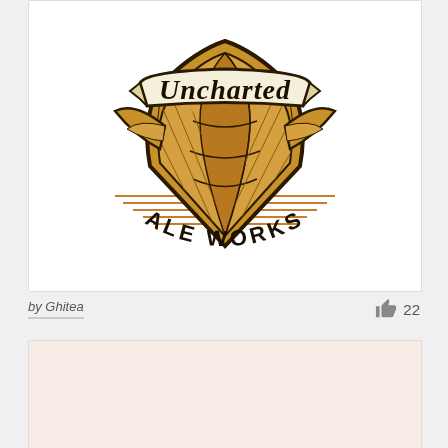[Figure (logo): Uncharted Ale Works brewery logo — a shield/hop cone emblem with banner reading 'Uncharted' and text 'ALE WORKS' in an arc below, in black, gold/amber, and cream colors on white background.]
by Ghitea   👍 22
[Figure (other): Light salmon/peach colored card placeholder area, mostly empty with partial content cut off at bottom.]